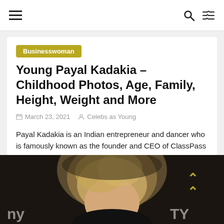Navigation bar with menu, search and shuffle icons
Businesswoman
Young Payal Kadakia – Childhood Photos, Age, Family, Height, Weight and More
March 23, 2021   Celebs as Young
Payal Kadakia is an Indian entrepreneur and dancer who is famously known as the founder and CEO of ClassPass and
Read more
[Figure (photo): Photo of a blonde woman against a dark background with partial text/logos visible at edges]